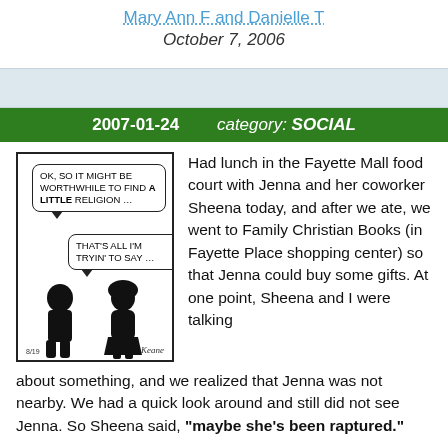Mary Ann F and Danielle T
October 7, 2006
2007-01-24        category: SOCIAL
[Figure (illustration): A Peanuts-style comic strip showing two child silhouettes. A speech bubble reads: 'OK, SO IT MIGHT BE WORTHWHILE TO FIND A LITTLE RELIGION ...' and another reads: 'THAT'S ALL I'M TRYIN' TO SAY ...' Caption: 8/19, signature at bottom right.]
Had lunch in the Fayette Mall food court with Jenna and her coworker Sheena today, and after we ate, we went to Family Christian Books (in Fayette Place shopping center) so that Jenna could buy some gifts. At one point, Sheena and I were talking about something, and we realized that Jenna was not nearby. We had a quick look around and still did not see Jenna. So Sheena said, "maybe she's been raptured."